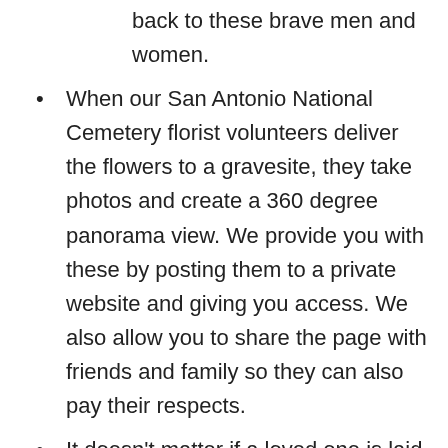back to these brave men and women.
When our San Antonio National Cemetery florist volunteers deliver the flowers to a gravesite, they take photos and create a 360 degree panorama view. We provide you with these by posting them to a private website and giving you access. We also allow you to share the page with friends and family so they can also pay their respects.
It doesn't matter if a loved one is laid to rest in a national cemetery across the country, our flower shop near San Antonio National Cemetery gives you virtual access from anywhere.
Remember Heroes gives you the sobering experience other flower shops near San Antonio National Cemetery don't.